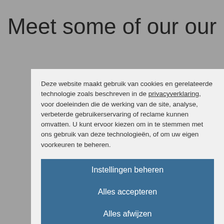Meet some of our our
Deze website maakt gebruik van cookies en gerelateerde technologie zoals beschreven in de privacyverklaring, voor doeleinden die de werking van de site, analyse, verbeterde gebruikerservaring of reclame kunnen omvatten. U kunt ervoor kiezen om in te stemmen met ons gebruik van deze technologieën, of om uw eigen voorkeuren te beheren.
Instellingen beheren
Alles accepteren
Alles afwijzen
Cookieverklaring